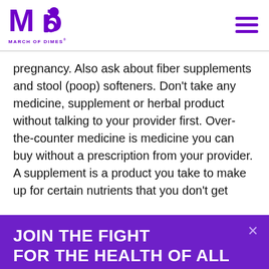March of Dimes
pregnancy. Also ask about fiber supplements and stool (poop) softeners. Don't take any medicine, supplement or herbal product without talking to your provider first. Over-the-counter medicine is medicine you can buy without a prescription from your provider. A supplement is a product you take to make up for certain nutrients that you don't get
JOIN THE FIGHT FOR THE HEALTH OF ALL MOMS AND BABIES
Facebook | Twitter | Email | +